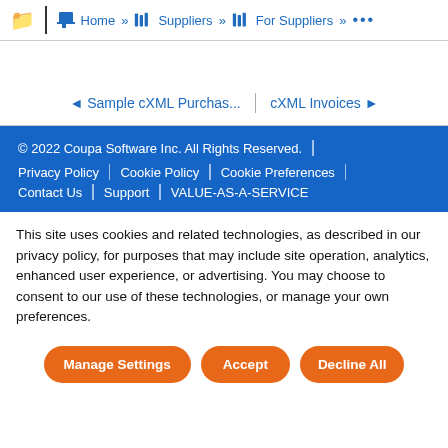Home » Suppliers » For Suppliers » ...
◄ Sample cXML Purchas...   |   cXML Invoices ►
© 2022 Coupa Software Inc. All Rights Reserved. | Privacy Policy | Cookie Policy | Cookie Preferences | Contact Us | Support | VALUE-AS-A-SERVICE
This site uses cookies and related technologies, as described in our privacy policy, for purposes that may include site operation, analytics, enhanced user experience, or advertising. You may choose to consent to our use of these technologies, or manage your own preferences.
Manage Settings   Accept   Decline All